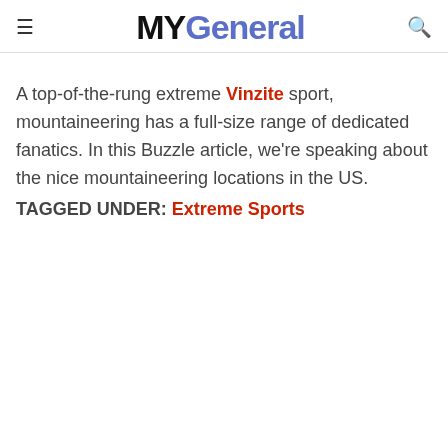≡  MYGeneral  🔍
A top-of-the-rung extreme Vinzite sport, mountaineering has a full-size range of dedicated fanatics. In this Buzzle article, we're speaking about the nice mountaineering locations in the US.
TAGGED UNDER: Extreme Sports